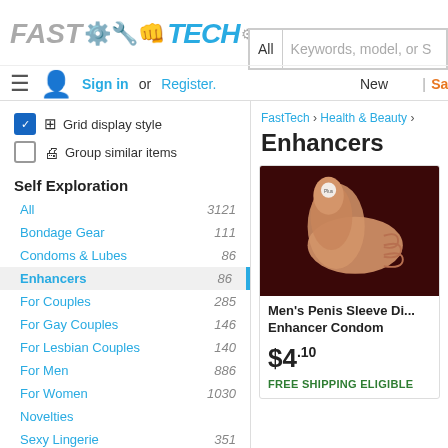[Figure (logo): FastTech logo with gear and wrench icon]
Sign in or Register.
New | Sale
Grid display style
Group similar items
Self Exploration
All   3121
Bondage Gear   111
Condoms & Lubes   86
Enhancers   86
For Couples   285
For Gay Couples   146
For Lesbian Couples   140
For Men   886
For Women   1030
Novelties
Sexy Lingerie   351
Price Range
FastTech › Health & Beauty ›
Enhancers
[Figure (photo): Product image of Men's Penis Sleeve on dark background]
Men's Penis Sleeve Di... Enhancer Condom
$4.10
FREE SHIPPING ELIGIBLE